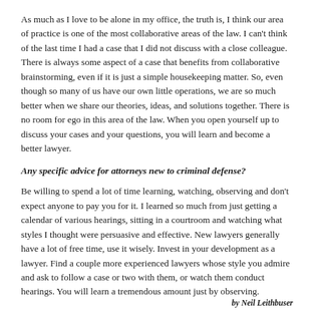As much as I love to be alone in my office, the truth is, I think our area of practice is one of the most collaborative areas of the law.  I can't think of the last time I had a case that I did not discuss with a close colleague.  There is always some aspect of a case that benefits from collaborative brainstorming, even if it is just a simple housekeeping matter.  So, even though so many of us have our own little operations, we are so much better when we share our theories, ideas, and solutions together.  There is no room for ego in this area of the law.  When you open yourself up to discuss your cases and your questions, you will learn and become a better lawyer.
Any specific advice for attorneys new to criminal defense?
Be willing to spend a lot of time learning, watching, observing and don't expect anyone to pay you for it.  I learned so much from just getting a calendar of various hearings, sitting in a courtroom and watching what styles I thought were persuasive and effective.  New lawyers generally have a lot of free time, use it wisely.  Invest in your development as a lawyer.  Find a couple more experienced lawyers whose style you admire and ask to follow a case or two with them, or watch them conduct hearings.  You will learn a tremendous amount just by observing.
by Neil Leithbuser